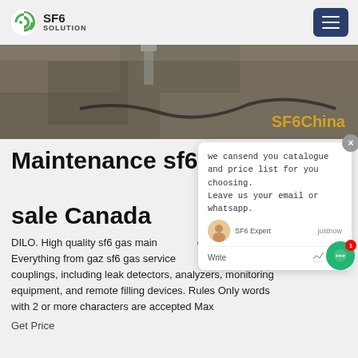[Figure (logo): SF6 Solution logo with green circular icon and bold text 'SF6 SOLUTION']
[Figure (photo): Industrial/engineering hero image showing equipment on a concrete floor, with orange 'SF6China' text overlay]
[Figure (screenshot): Chat popup overlay showing message 'we can send you catalogue and price list for you choosing. Leave us your email or whatsapp.' with SF6 Expert agent row and write/send controls]
Maintenance sf6 gas for sale Canada
DILO. High quality sf6 gas maintenance equipment. Everything from gaz sf6 gas service carts to valves and couplings, including leak detectors, analyzers, monitoring equipment, and remote filling devices. Rules Only words with 2 or more characters are accepted Max
Get Price